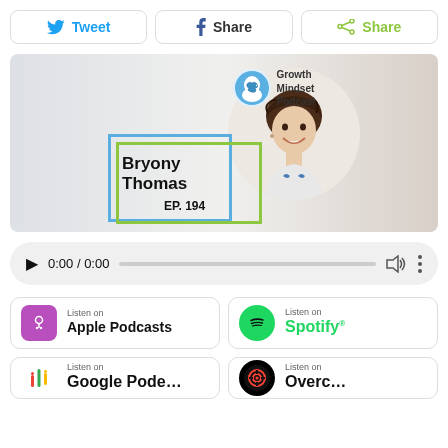[Figure (screenshot): Social share buttons row: Tweet (Twitter), Share (Facebook), Share (generic)]
[Figure (screenshot): Growth Mindset Podcast episode thumbnail featuring Bryony Thomas, EP. 194, with blue and green rectangular overlays and circular portrait photo]
[Figure (screenshot): HTML5 audio player showing 0:00 / 0:00 with play button, progress bar, volume and more icons]
[Figure (screenshot): Listen on Apple Podcasts button]
[Figure (screenshot): Listen on Spotify button]
[Figure (screenshot): Listen on Google Podcasts button (partially visible)]
[Figure (screenshot): Listen on another platform button (partially visible)]